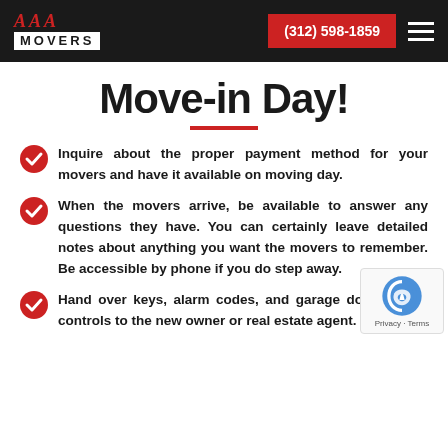[Figure (logo): AAA Movers logo on dark background with red AAA text and white MOVERS bar]
(312) 598-1859
Move-in Day!
Inquire about the proper payment method for your movers and have it available on moving day.
When the movers arrive, be available to answer any questions they have. You can certainly leave detailed notes about anything you want the movers to remember. Be accessible by phone if you do step away.
Hand over keys, alarm codes, and garage door remote controls to the new owner or real estate agent.